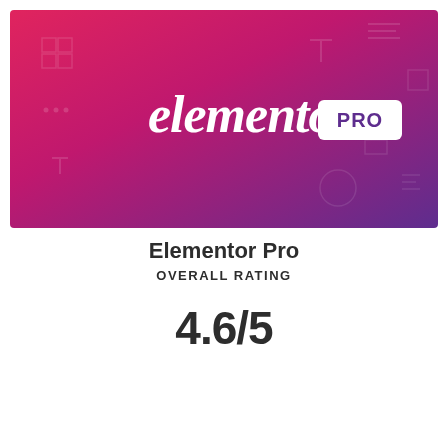[Figure (logo): Elementor Pro logo on a gradient background going from hot pink/red on the left to deep purple on the right, with faint UI icons overlaid. The text 'elementor' is in white cursive/script font and 'PRO' is in a white rounded rectangle badge.]
Elementor Pro
OVERALL RATING
4.6/5